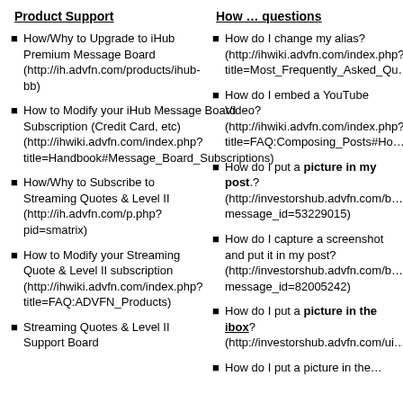Product Support
How … questions
How/Why to Upgrade to iHub Premium Message Board (http://ih.advfn.com/products/ihub-bb)
How to Modify your iHub Message Board Subscription (Credit Card, etc) (http://ihwiki.advfn.com/index.php?title=Handbook#Message_Board_Subscriptions)
How/Why to Subscribe to Streaming Quotes & Level II (http://ih.advfn.com/p.php?pid=smatrix)
How to Modify your Streaming Quote & Level II subscription (http://ihwiki.advfn.com/index.php?title=FAQ:ADVFN_Products)
Streaming Quotes & Level II Support Board
How do I change my alias? (http://ihwiki.advfn.com/index.php?title=Most_Frequently_Asked_Qu…
How do I embed a YouTube Video? (http://ihwiki.advfn.com/index.php?title=FAQ:Composing_Posts#Ho…
How do I put a picture in my post.? (http://investorshub.advfn.com/b…message_id=53229015)
How do I capture a screenshot and put it in my post? (http://investorshub.advfn.com/b…message_id=82005242)
How do I put a picture in the ibox? (http://investorshub.advfn.com/ui…
How do I put a picture in the…